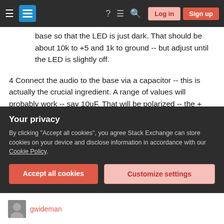Stack Exchange navigation bar with hamburger menu, logo, help, chat, search icons, Log in and Sign up buttons
base so that the LED is just dark. That should be about 10k to +5 and 1k to ground -- but adjust until the LED is slightly off.
4 Connect the audio to the base via a capacitor -- this is actually the crucial ingredient. A range of values will probably work -- say 10uF. That will be polarized -- the + end should go to the base.
That should be much more sensitive than what you've got. Your main issue is that the audio is likely at zero volts, and so you need about 0.5V to 0.7V
Your privacy
By clicking "Accept all cookies", you agree Stack Exchange can store cookies on your device and disclose information in accordance with our Cookie Policy.
Accept all cookies | Customize settings
gwideman